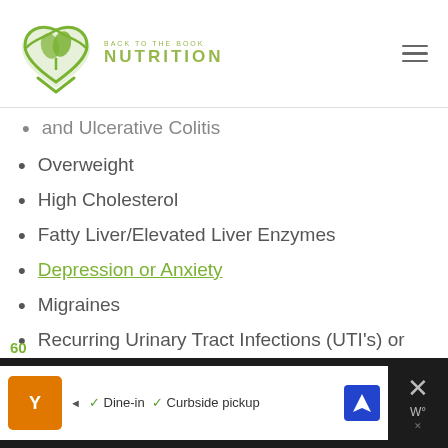Back to the Book Nutrition
and Ulcerative Colitis
Overweight
High Cholesterol
Fatty Liver/Elevated Liver Enzymes
Depression or Anxiety
Migraines
Recurring Urinary Tract Infections (UTI's) or yeast infections
Food allergies or sensitivities
Skin issues – eczema, rashes, acne,
60